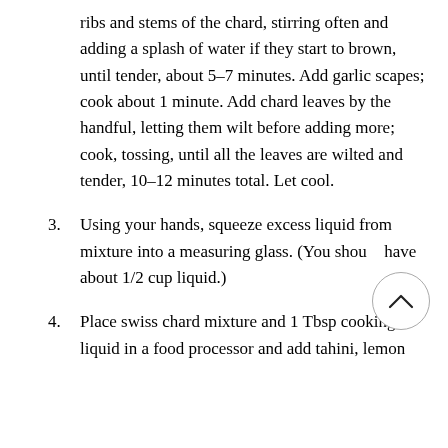ribs and stems of the chard, stirring often and adding a splash of water if they start to brown, until tender, about 5–7 minutes. Add garlic scapes; cook about 1 minute. Add chard leaves by the handful, letting them wilt before adding more; cook, tossing, until all the leaves are wilted and tender, 10–12 minutes total. Let cool.
3. Using your hands, squeeze excess liquid from mixture into a measuring glass. (You should have about 1/2 cup liquid.)
4. Place swiss chard mixture and 1 Tbsp cooking liquid in a food processor and add tahini, lemon